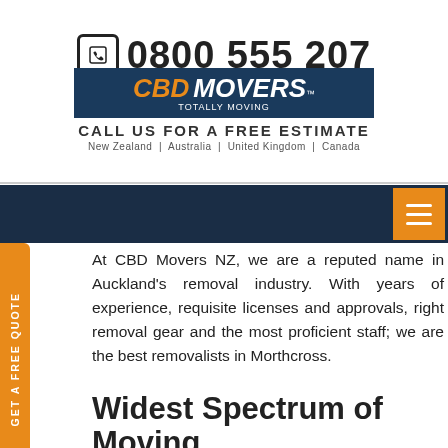[Figure (logo): CBD Movers logo with phone number 0800 555 207, call to action text, and country list]
At CBD Movers NZ, we are a reputed name in Auckland's removal industry. With years of experience, requisite licenses and approvals, right removal gear and the most proficient staff; we are the best removalists in Morthcross.
Widest Spectrum of Moving Services